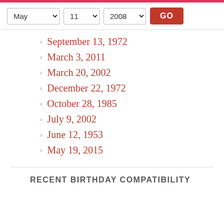[Figure (screenshot): Date selector controls with dropdowns for May, 11, 2008 and a red GO button]
September 13, 1972
March 3, 2011
March 20, 2002
December 22, 1972
October 28, 1985
July 9, 2002
June 12, 1953
May 19, 2015
RECENT BIRTHDAY COMPATIBILITY